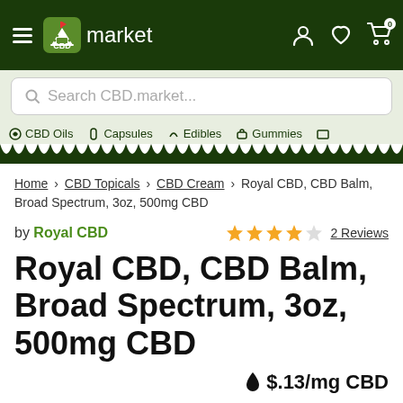CBD market
Search CBD.market...
CBD Oils   Capsules   Edibles   Gummies
Home › CBD Topicals › CBD Cream › Royal CBD, CBD Balm, Broad Spectrum, 3oz, 500mg CBD
by Royal CBD  ★★★★½  2 Reviews
Royal CBD, CBD Balm, Broad Spectrum, 3oz, 500mg CBD
$.13/mg CBD